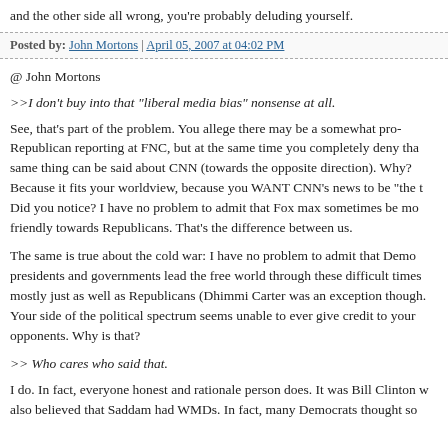and the other side all wrong, you're probably deluding yourself.
Posted by: John Mortons | April 05, 2007 at 04:02 PM
@ John Mortons
>>I don't buy into that "liberal media bias" nonsense at all.
See, that's part of the problem. You allege there may be a somewhat pro-Republican reporting at FNC, but at the same time you completely deny tha same thing can be said about CNN (towards the opposite direction). Why? Because it fits your worldview, because you WANT CNN's news to be "the t Did you notice? I have no problem to admit that Fox max sometimes be mo friendly towards Republicans. That's the difference between us.
The same is true about the cold war: I have no problem to admit that Demo presidents and governments lead the free world through these difficult times mostly just as well as Republicans (Dhimmi Carter was an exception though. Your side of the political spectrum seems unable to ever give credit to your opponents. Why is that?
>> Who cares who said that.
I do. In fact, everyone honest and rationale person does. It was Bill Clinton w also believed that Saddam had WMDs. In fact, many Democrats thought so